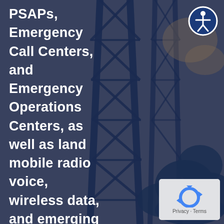[Figure (photo): Background image of a communications/radio tower with lattice steel structure, overlaid with a dark navy blue tint. Trees and structures visible in background.]
PSAPs, Emergency Call Centers, and Emergency Operations Centers, as well as land mobile radio voice, wireless data, and emerging LTE mobile communications
[Figure (logo): Accessibility icon — white figure with arms outstretched inside a dark blue circle, top-right corner]
[Figure (logo): Privacy & Terms reCAPTCHA logo in bottom-right, white/light gray box with blue recycle-style arrows icon]